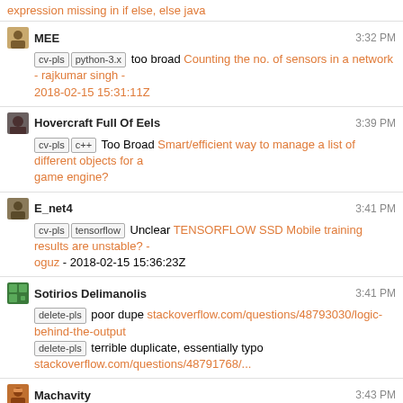expression missing in if else, else java
MEE 3:32 PM | cv-pls python-3.x too broad Counting the no. of sensors in a network - rajkumar singh - 2018-02-15 15:31:11Z
Hovercraft Full Of Eels 3:39 PM | cv-pls c++ Too Broad Smart/efficient way to manage a list of different objects for a game engine?
E_net4 3:41 PM | cv-pls tensorflow Unclear TENSORFLOW SSD Mobile training results are unstable? - oguz - 2018-02-15 15:36:23Z
Sotirios Delimanolis 3:41 PM | delete-pls poor dupe stackoverflow.com/questions/48793030/logic-behind-the-output | delete-pls terrible duplicate, essentially typo stackoverflow.com/questions/48791768/...
Machavity 3:43 PM | cv-pls windows General Computing Windows 10 Replace drive D: - mariolpantunes - 2018-02-15 00:17:26Z
Sotirios Delimanolis 3:43 PM | delete-pls another million dupes stackoverflow.com/questions/48797344/... | delete-pls 20k+ typo assigned variable too early, useless to everyone else stackoverflow.com/questions/48797958/...
Machavity 3:46 PM | cv-pls tensorflow Too Broad How can we define a new feature extractor for SSD in